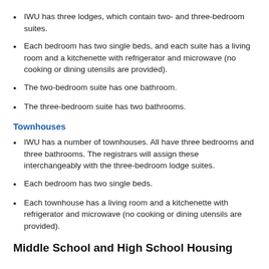IWU has three lodges, which contain two- and three-bedroom suites.
Each bedroom has two single beds, and each suite has a living room and a kitchenette with refrigerator and microwave (no cooking or dining utensils are provided).
The two-bedroom suite has one bathroom.
The three-bedroom suite has two bathrooms.
Townhouses
IWU has a number of townhouses. All have three bedrooms and three bathrooms. The registrars will assign these interchangeably with the three-bedroom lodge suites.
Each bedroom has two single beds.
Each townhouse has a living room and a kitchenette with refrigerator and microwave (no cooking or dining utensils are provided).
Middle School and High School Housing